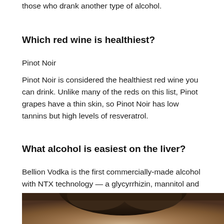those who drank another type of alcohol.
Which red wine is healthiest?
Pinot Noir
Pinot Noir is considered the healthiest red wine you can drink. Unlike many of the reds on this list, Pinot grapes have a thin skin, so Pinot Noir has low tannins but high levels of resveratrol.
What alcohol is easiest on the liver?
Bellion Vodka is the first commercially-made alcohol with NTX technology — a glycyrrhizin, mannitol and potassium sorbate blend that is clinically proven to be easier on your liver.
[Figure (photo): Partial photo of a person, showing hair and top of head at the bottom of the page]